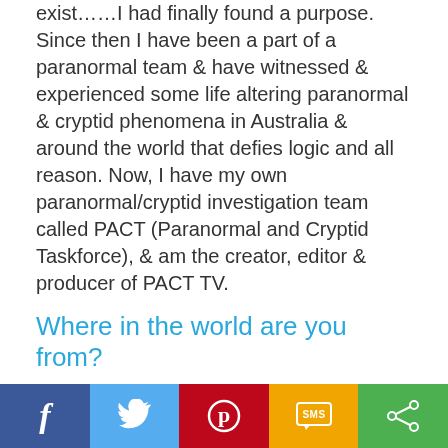exist……I had finally found a purpose. Since then I have been a part of a paranormal team & have witnessed & experienced some life altering paranormal & cryptid phenomena in Australia & around the world that defies logic and all reason. Now, I have my own paranormal/cryptid investigation team called PACT (Paranormal and Cryptid Taskforce), & am the creator, editor & producer of PACT TV.
Where in the world are you from?
I currently live in the Hawkesbury region, NSW Australia. This is Australia's Third Mainland Settlement behind Sydney & Parramatta, so I'm very blessed to constantly be surrounded by history.
Social share bar: Facebook, Twitter, Pinterest, SMS, Share